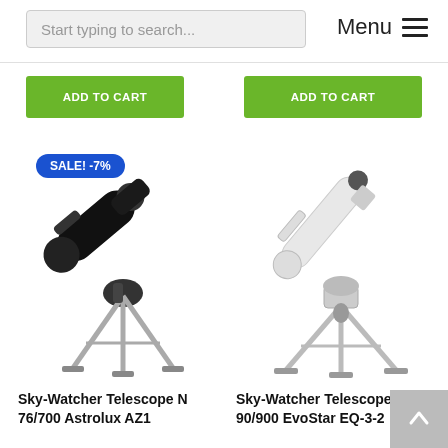Start typing to search...
Menu ≡
ADD TO CART
ADD TO CART
SALE! -7%
[Figure (photo): Sky-Watcher Telescope N 76/700 Astrolux AZ1 - black reflector telescope on silver tripod]
[Figure (photo): Sky-Watcher Telescope 90/900 EvoStar EQ-3-2 - white refractor telescope on silver tripod]
Sky-Watcher Telescope N 76/700 Astrolux AZ1
Sky-Watcher Telescope 90/900 EvoStar EQ-3-2